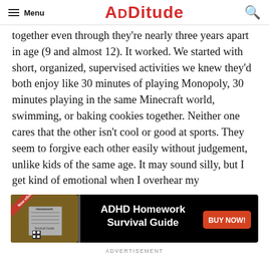Menu | ADDITUDE
together even through they're nearly three years apart in age (9 and almost 12). It worked. We started with short, organized, supervised activities we knew they'd both enjoy like 30 minutes of playing Monopoly, 30 minutes playing in the same Minecraft world, swimming, or baking cookies together. Neither one cares that the other isn't cool or good at sports. They seem to forgive each other easily without judgement, unlike kids of the same age. It may sound silly, but I get kind of emotional when I overhear my
[Figure (infographic): Advertisement banner for ADHD Homework Survival Guide eBook with a Buy Now button on black background]
ADVERTISEMENT